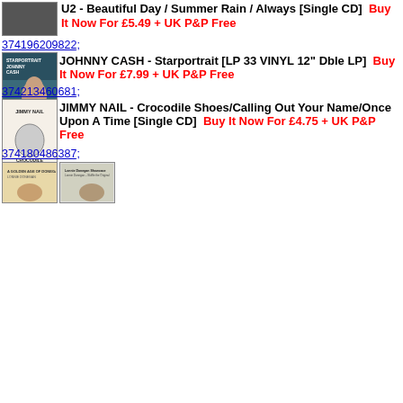U2 - Beautiful Day / Summer Rain / Always [Single CD]   Buy It Now For £5.49 + UK P&P Free
374196209822;
[Figure (photo): Johnny Cash album cover - Starportrait]
JOHNNY CASH - Starportrait [LP 33 VINYL 12" Dble LP]   Buy It Now For £7.99 + UK P&P Free
374213460681;
[Figure (photo): Jimmy Nail - Crocodile Shoes album cover]
JIMMY NAIL - Crocodile Shoes/Calling Out Your Name/Once Upon A Time [Single CD]   Buy It Now For £4.75 + UK P&P Free
374180486387;
[Figure (photo): Lonnie Donegan - two album covers side by side]